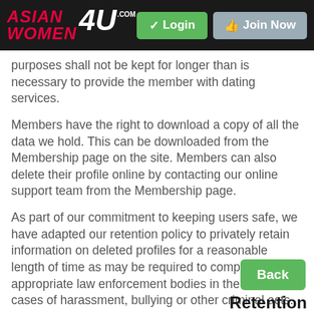ASIAN WOMEN 4U .com | Login | Join Now
purposes shall not be kept for longer than is necessary to provide the member with dating services.
Members have the right to download a copy of all the data we hold. This can be downloaded from the Membership page on the site. Members can also delete their profile online by contacting our online support team from the Membership page.
As part of our commitment to keeping users safe, we have adapted our retention policy to privately retain information on deleted profiles for a reasonable length of time as may be required to comply with the appropriate law enforcement bodies in the event of cases of harassment, bullying or other criminal acts.
Back
Retention